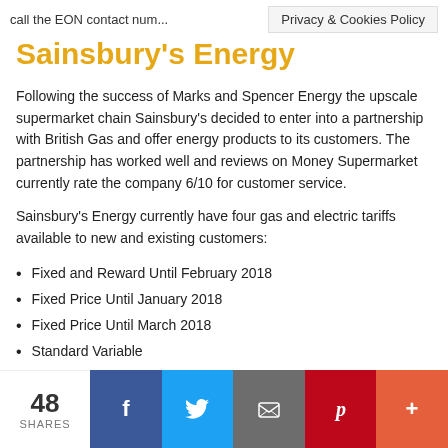call the EON contact num...
Sainsbury's Energy
Following the success of Marks and Spencer Energy the upscale supermarket chain Sainsbury's decided to enter into a partnership with British Gas and offer energy products to its customers. The partnership has worked well and reviews on Money Supermarket currently rate the company 6/10 for customer service.
Sainsbury's Energy currently have four gas and electric tariffs available to new and existing customers:
Fixed and Reward Until February 2018
Fixed Price Until January 2018
Fixed Price Until March 2018
Standard Variable
If you need to contact a customer service adviser regarding your account lines are open Monday to Friday 08:00 – 20:00 and Saturday 08:00 – 13:00